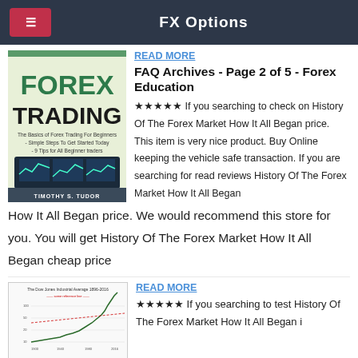FX Options
READ MORE
FAQ Archives - Page 2 of 5 - Forex Education
[Figure (illustration): Book cover: FOREX TRADING - The Basics of Forex Trading For Beginners - Simple Steps To Get Started Today - 9 Tips for All Beginner traders, by Timothy S. Tudor]
★★★★★ If you searching to check on History Of The Forex Market How It All Began price. This item is very nice product. Buy Online keeping the vehicle safe transaction. If you are searching for read reviews History Of The Forex Market How It All Began price. We would recommend this store for you. You will get History Of The Forex Market How It All Began cheap price
READ MORE
[Figure (screenshot): Chart image showing The Dow Jones Industrial Average 1896-2016 with multiple trend lines]
★★★★★ If you searching to test History Of The Forex Market How It All Began i